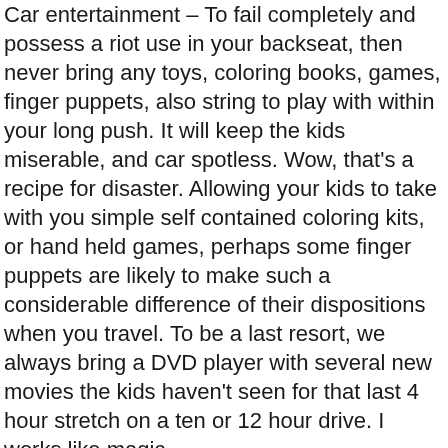Car entertainment – To fail completely and possess a riot use in your backseat, then never bring any toys, coloring books, games, finger puppets, also string to play with within your long push. It will keep the kids miserable, and car spotless. Wow, that's a recipe for disaster. Allowing your kids to take with you simple self contained coloring kits, or hand held games, perhaps some finger puppets are likely to make such a considerable difference of their dispositions when you travel. To be a last resort, we always bring a DVD player with several new movies the kids haven't seen for that last 4 hour stretch on a ten or 12 hour drive. I works like magic.
Once we've got brought you in to your massage room, please put your clothes where your therapist invites you to. We walk around the table to work on you along with want to Busan business trip